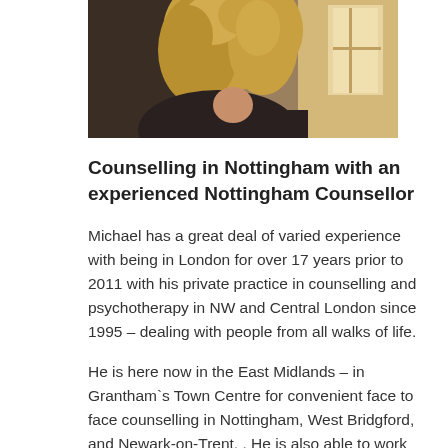[Figure (photo): Partial photo of a person with curly/wavy light hair, seen from behind/side, near a window with light coming through]
Counselling in Nottingham with an experienced Nottingham Counsellor
Michael has a great deal of varied experience with being in London for over 17 years prior to 2011 with his private practice in counselling and psychotherapy in NW and Central London since 1995 – dealing with people from all walks of life.
He is here now in the East Midlands – in Grantham`s Town Centre for convenient face to face counselling in Nottingham, West Bridgford, and Newark-on-Trent. . He is also able to work over the phone or with Skype.